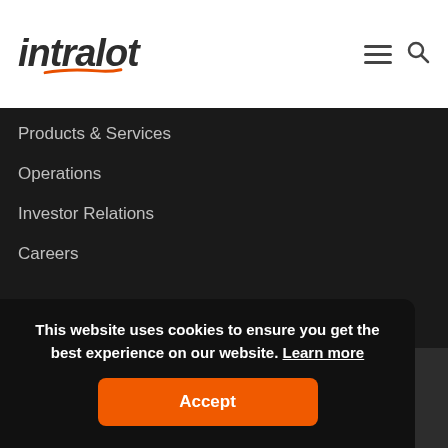[Figure (logo): Intralot company logo with italic bold text and orange swoosh underline]
Products & Services
Operations
Investor Relations
Careers
19 km, Markopoulou Ave., 19 002 Peania - Attica, Greece
T. (+30) 210 615 6000  (+30) 213 039 7000
This website uses cookies to ensure you get the best experience on our website. Learn more
Accept